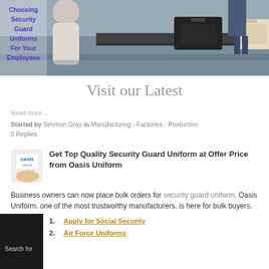[Figure (photo): Hero image showing airport baggage carousel with luggage, with overlaid bold purple text about Choosing Security Guard Uniforms For Your Employees]
Visit our Latest
Read more…
Started by Simmon Gray in Manufacturing - Factories - Production
0 Replies
[Figure (logo): Oasis Uniform logo - hand holding a card with Oasis branding]
Get Top Quality Security Guard Uniform at Offer Price from Oasis Uniform
Business owners can now place bulk orders for security guard uniform. Oasis Uniform, one of the most trustworthy manufacturers, is here for bulk buyers.
Search for
1. Apply for Social Security
2. Air Force Uniforms